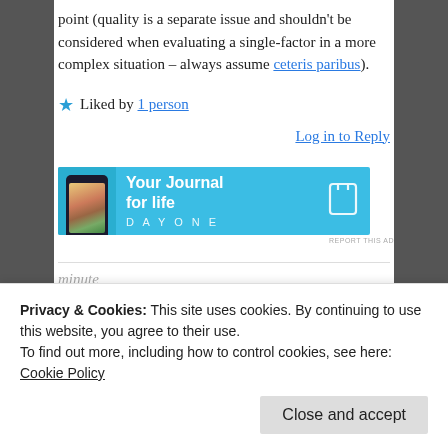point (quality is a separate issue and shouldn't be considered when evaluating a single-factor in a more complex situation – always assume ceteris paribus).
★ Liked by 1 person
Log in to Reply
[Figure (other): Advertisement banner for Day One journal app with blue background, phone graphic, text 'Your Journal for life' and DAYONE branding.]
Privacy & Cookies: This site uses cookies. By continuing to use this website, you agree to their use. To find out more, including how to control cookies, see here: Cookie Policy
Close and accept